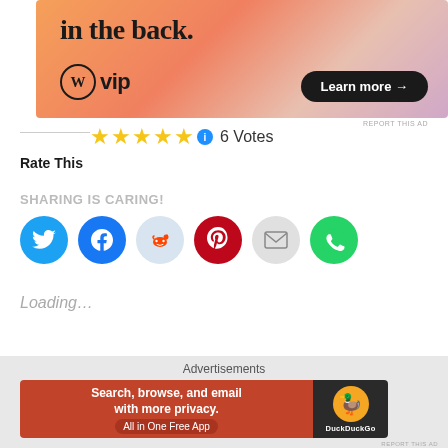[Figure (other): WordPress VIP advertisement banner with orange gradient background, 'in the back.' text, WordPress W logo with 'vip' text, and 'Learn more →' button]
REPORT THIS AD
[Figure (other): Five gold stars rating with info icon and '6 Votes' text]
Rate This
SHARING IS CARING!
[Figure (other): Social sharing buttons: Twitter (blue bird), Facebook (blue f), Reddit (light blue alien), Pinterest (red P), Email (grey envelope), WhatsApp (green phone)]
Loading...
RELATED
Advertisements
[Figure (other): DuckDuckGo advertisement: 'Search, browse, and email with more privacy. All in One Free App' on red background with DuckDuckGo logo on dark background]